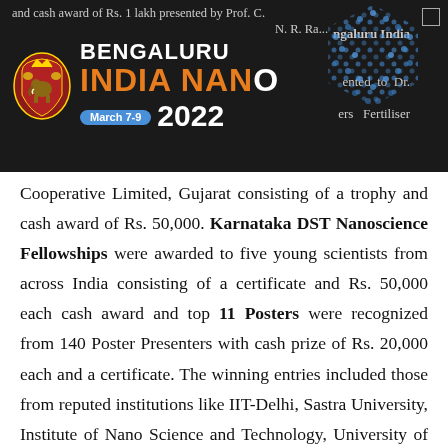[Figure (logo): Bengaluru India Nano March 7-9 2022 conference logo with Karnataka state emblem and hexagonal pattern background on dark banner]
and cash award of Rs. 1 lakh presented by Prof. C. N. R. Rao... Bengaluru India Nano... presented to Dr. Ramesh Kaliya, Indian Farmers Fertiliser Cooperative Limited, Gujarat consisting of a trophy and cash award of Rs. 50,000. Karnataka DST Nanoscience Fellowships were awarded to five young scientists from across India consisting of a certificate and Rs. 50,000 each cash award and top 11 Posters were recognized from 140 Poster Presenters with cash prize of Rs. 20,000 each and a certificate. The winning entries included those from reputed institutions like IIT-Delhi, Sastra University, Institute of Nano Science and Technology, University of Agricultural Science, Raichur among others.